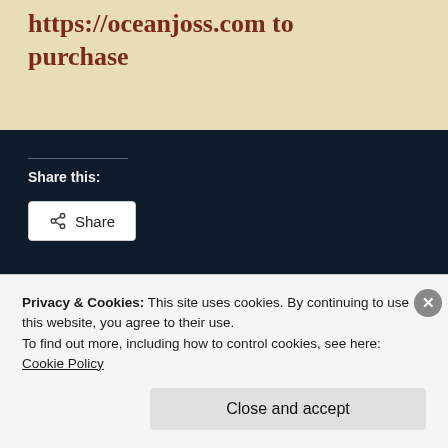https://oceanjoss.com to purchase
Share this:
[Figure (other): Share button with share icon]
Privacy & Cookies: This site uses cookies. By continuing to use this website, you agree to their use.
To find out more, including how to control cookies, see here: Cookie Policy
Close and accept